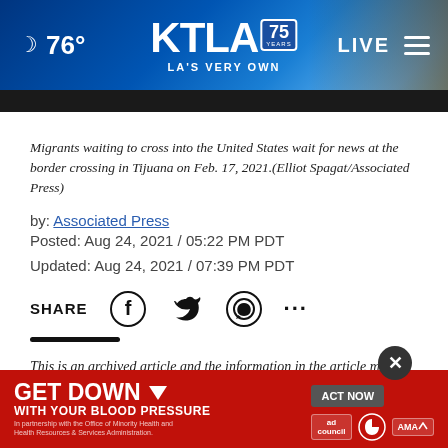[Figure (screenshot): KTLA 75 Years TV station website header with moon icon, 76° temperature, KTLA logo with 75 Years badge, LA'S VERY OWN tagline, LIVE button, and hamburger menu]
Migrants waiting to cross into the United States wait for news at the border crossing in Tijuana on Feb. 17, 2021.(Elliot Spagat/Associated Press)
by: Associated Press
Posted: Aug 24, 2021 / 05:22 PM PDT
Updated: Aug 24, 2021 / 07:39 PM PDT
SHARE
This is an archived article and the information in the article may be outdated.
Please look at the time stamp on the story to see when it was last updated.
The S... administration likely violated federal law in trying to
[Figure (infographic): GET DOWN WITH YOUR BLOOD PRESSURE advertisement banner with ACT NOW button, ad council logo, American Heart Association logo, and AMA logo]